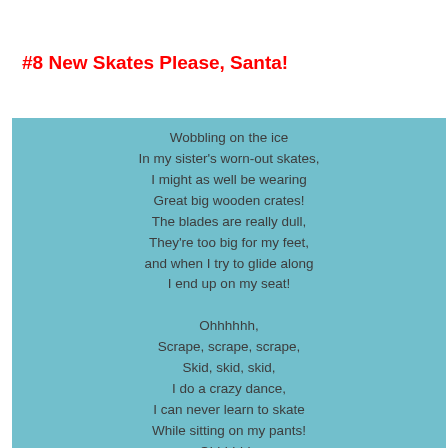#8 New Skates Please, Santa!
Wobbling on the ice
In my sister's worn-out skates,
I might as well be wearing
Great big wooden crates!
The blades are really dull,
They're too big for my feet,
and when I try to glide along
I end up on my seat!

Ohhhhhh,
Scrape, scrape, scrape,
Skid, skid, skid,
I do a crazy dance,
I can never learn to skate
While sitting on my pants!
Ohhhhhh,
Thump, thump, splat,